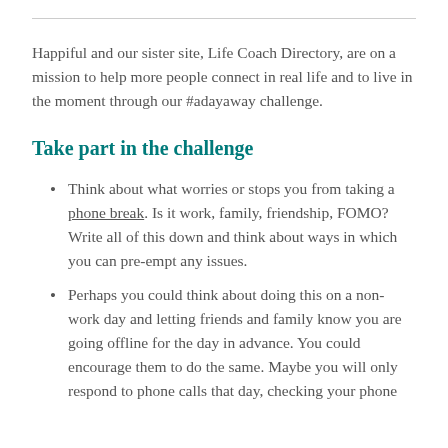Happiful and our sister site, Life Coach Directory, are on a mission to help more people connect in real life and to live in the moment through our #adayaway challenge.
Take part in the challenge
Think about what worries or stops you from taking a phone break. Is it work, family, friendship, FOMO? Write all of this down and think about ways in which you can pre-empt any issues.
Perhaps you could think about doing this on a non-work day and letting friends and family know you are going offline for the day in advance. You could encourage them to do the same. Maybe you will only respond to phone calls that day, checking your phone